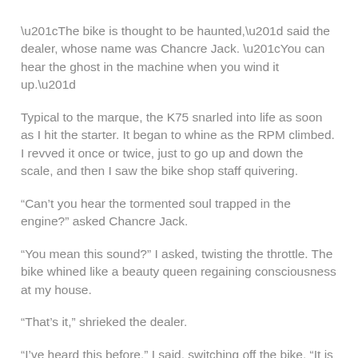“The bike is thought to be haunted,” said the dealer, whose name was Chancre Jack. “You can hear the ghost in the machine when you wind it up.”
Typical to the marque, the K75 snarled into life as soon as I hit the starter. It began to whine as the RPM climbed. I revved it once or twice, just to go up and down the scale, and then I saw the bike shop staff quivering.
“Can’t you hear the tormented soul trapped in the engine?” asked Chancre Jack.
“You mean this sound?” I asked, twisting the throttle. The bike whined like a beauty queen regaining consciousness at my house.
“That’s it,” shrieked the dealer.
“I’ve heard this before,” I said, switching off the bike. “It is the soul of a Valkyrie, seeking revenge.” I then showed the dealer the clear “porthole” for checking the oil. “By tradition…